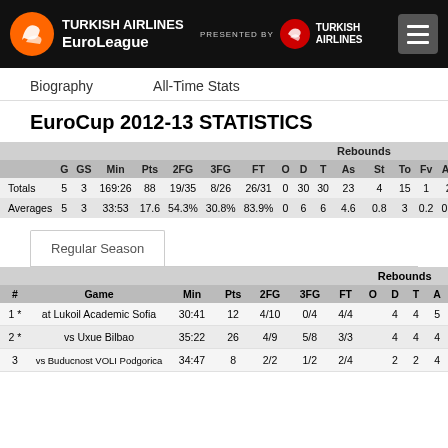TURKISH AIRLINES EuroLeague | PRESENTED BY TURKISH AIRLINES
Biography   All-Time Stats
EuroCup 2012-13 STATISTICS
|  | G | GS | Min | Pts | 2FG | 3FG | FT | O | D | T | As | St | To | Fv | Ag | Cm |
| --- | --- | --- | --- | --- | --- | --- | --- | --- | --- | --- | --- | --- | --- | --- | --- | --- |
| Totals | 5 | 3 | 169:26 | 88 | 19/35 | 8/26 | 26/31 | 0 | 30 | 30 | 23 | 4 | 15 | 1 | 2 | 15 |
| Averages | 5 | 3 | 33:53 | 17.6 | 54.3% | 30.8% | 83.9% | 0 | 6 | 6 | 4.6 | 0.8 | 3 | 0.2 | 0.4 | 3 |
Regular Season
| # | Game | Min | Pts | 2FG | 3FG | FT | O | D | T | A |
| --- | --- | --- | --- | --- | --- | --- | --- | --- | --- | --- |
| 1 * | at Lukoil Academic Sofia | 30:41 | 12 | 4/10 | 0/4 | 4/4 |  | 4 | 4 | 5 |
| 2 * | vs Uxue Bilbao | 35:22 | 26 | 4/9 | 5/8 | 3/3 |  | 4 | 4 | 4 |
| 3 | vs Buducnost VOLI Podgorica | 34:47 | 8 | 2/2 | 1/2 | 2/4 |  | 2 | 2 | 4 |